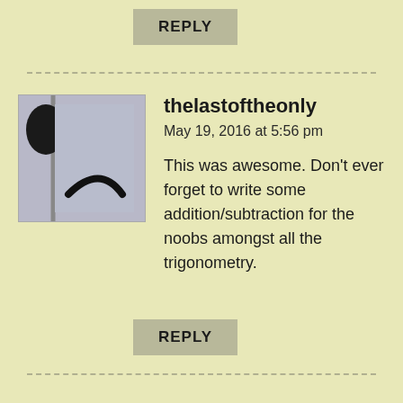REPLY
[Figure (illustration): Avatar image showing a sad face drawn on a wall/door — two ear-like dark shapes at top, a frowning curved line at bottom, on a light gray/blue background]
thelastoftheonly
May 19, 2016 at 5:56 pm
This was awesome. Don't ever forget to write some addition/subtraction for the noobs amongst all the trigonometry.
REPLY